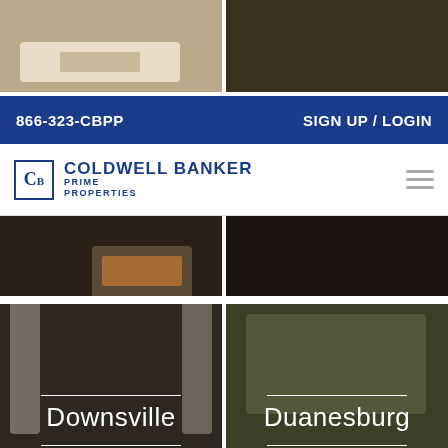[Figure (photo): Two property interior/exterior photos at top of page]
866-323-CBPP   SIGN UP / LOGIN
[Figure (logo): Coldwell Banker Prime Properties logo with hamburger menu]
[Figure (photo): Two property interior photos - fireplace living room and dark interior]
[Figure (photo): Two property photos - Downsville (interior with curtains) and Duanesburg (house exterior)]